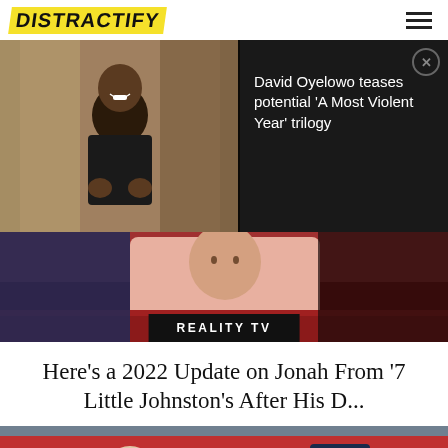DISTRACTIFY
[Figure (photo): Man in black t-shirt smiling and gesturing with hands, indoor setting]
[Figure (screenshot): Dark overlay panel with text: David Oyelowo teases potential 'A Most Violent Year' trilogy, with close button]
[Figure (photo): Person in pink shirt seated on red couch, with REALITY TV badge overlay at bottom]
Here's a 2022 Update on Jonah From '7 Little Johnston's After His D...
[Figure (photo): Ryan Reynolds smiling wearing glasses, with a person in a Wrexham hat, stadium crowd in background]